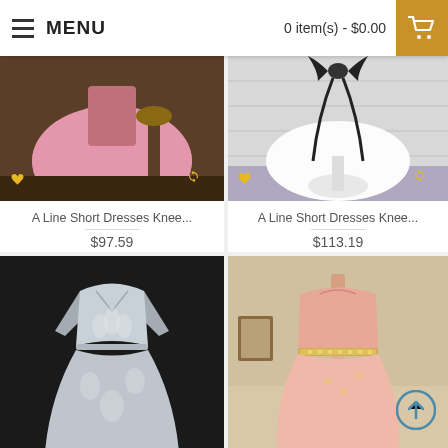MENU   0 item(s) - $0.00
[Figure (photo): Pink tulle A-line short dress displayed in room with lamp, with heart and refresh icons overlaid]
A Line Short Dresses Knee...
$97.59
[Figure (photo): White short dress with black bow ribbon displayed on stand, with heart and refresh icons overlaid]
A Line Short Dresses Knee...
$113.19
[Figure (photo): Grey/white lace long A-line dress on black mannequin with dark background]
[Figure (photo): Peach/pink sleeveless dress with beaded waist on mannequin, with scroll-up button]